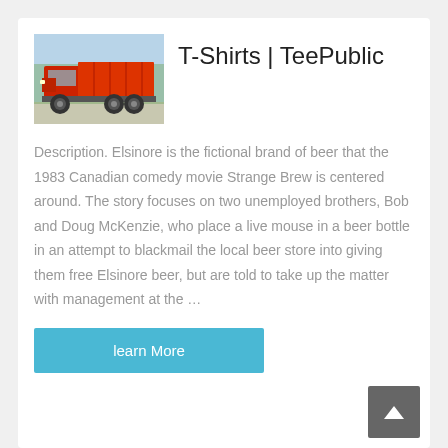[Figure (photo): Red dump truck / heavy freight truck parked outdoors]
T-Shirts | TeePublic
Description. Elsinore is the fictional brand of beer that the 1983 Canadian comedy movie Strange Brew is centered around. The story focuses on two unemployed brothers, Bob and Doug McKenzie, who place a live mouse in a beer bottle in an attempt to blackmail the local beer store into giving them free Elsinore beer, but are told to take up the matter with management at the …
learn More